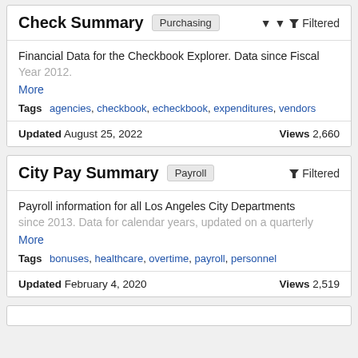Check Summary
Financial Data for the Checkbook Explorer. Data since Fiscal Year 2012.
More
Tags  agencies, checkbook, echeckbook, expenditures, vendors
Updated August 25, 2022   Views 2,660
City Pay Summary
Payroll information for all Los Angeles City Departments since 2013. Data for calendar years, updated on a quarterly
More
Tags  bonuses, healthcare, overtime, payroll, personnel
Updated February 4, 2020   Views 2,519